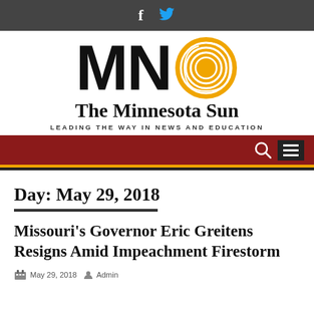f [Facebook icon] [Twitter icon]
[Figure (logo): The Minnesota Sun logo with large bold MN letters and a circular sun graphic in gold/yellow. Below: 'The Minnesota Sun' publication name and tagline 'LEADING THE WAY IN NEWS AND EDUCATION']
Navigation bar with search and menu icons
Day: May 29, 2018
Missouri's Governor Eric Greitens Resigns Amid Impeachment Firestorm
Admin — May 29, 2018